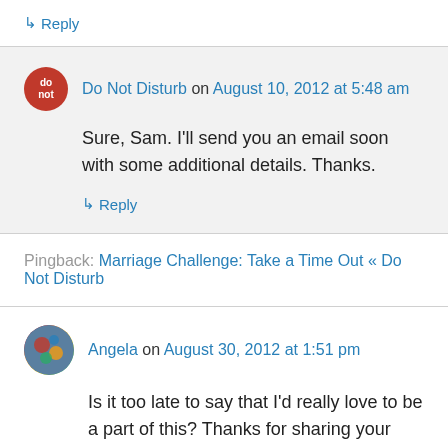↳ Reply
Do Not Disturb on August 10, 2012 at 5:48 am
Sure, Sam. I'll send you an email soon with some additional details. Thanks.
↳ Reply
Pingback: Marriage Challenge: Take a Time Out « Do Not Disturb
Angela on August 30, 2012 at 1:51 pm
Is it too late to say that I'd really love to be a part of this? Thanks for sharing your materials with